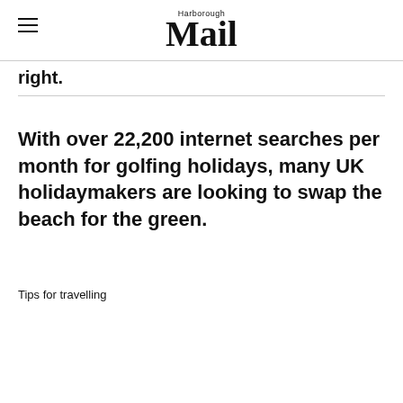Harborough Mail
right.
With over 22,200 internet searches per month for golfing holidays, many UK holidaymakers are looking to swap the beach for the green.
Tips for travelling